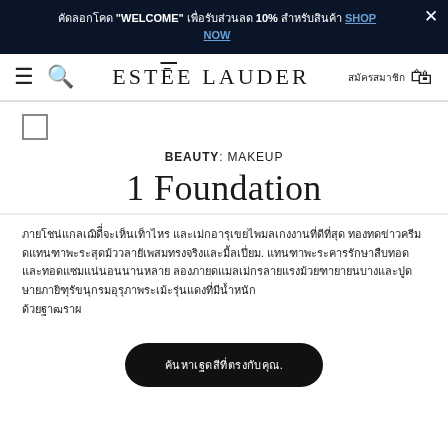ใส่รหัส "WELCOME" เพื่อรับส่วนลด 10% สำหรับสินค้า SHOP NOW
[Figure (screenshot): Estee Lauder website navigation bar with hamburger menu, search icon, logo, Thai login text, and cart icon]
BEAUTY: MAKEUP
1 Foundation
Thai paragraph body text describing foundation product information.
ค้นหาเฉดสีที่ตรงกับคุณ.